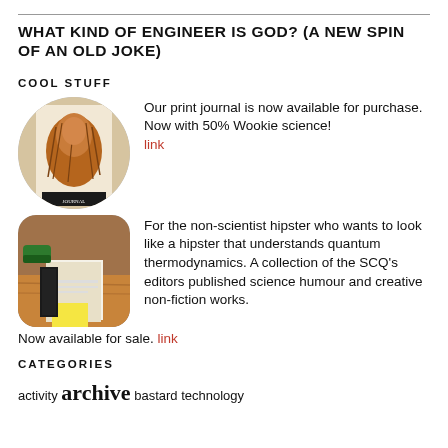WHAT KIND OF ENGINEER IS GOD? (A NEW SPIN OF AN OLD JOKE)
COOL STUFF
[Figure (photo): Circular cropped photo of a Chewbacca magazine cover]
Our print journal is now available for purchase. Now with 50% Wookie science! link
[Figure (photo): Rounded square photo of books/journal on a table]
For the non-scientist hipster who wants to look like a hipster that understands quantum thermodynamics. A collection of the SCQ's editors published science humour and creative non-fiction works. Now available for sale. link
CATEGORIES
activity archive bastard technology